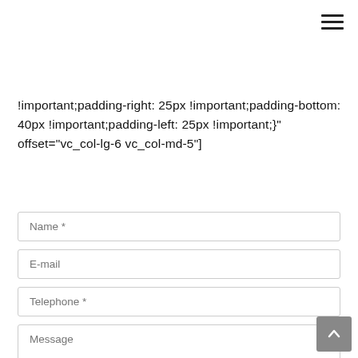[Figure (other): Hamburger menu icon (three horizontal lines) in top right corner]
!important;padding-right: 25px !important;padding-bottom: 40px !important;padding-left: 25px !important;}" offset="vc_col-lg-6 vc_col-md-5"]
[Figure (screenshot): Web contact form with fields: Name *, E-mail, Telephone *, Message textarea, and Submit Email button]